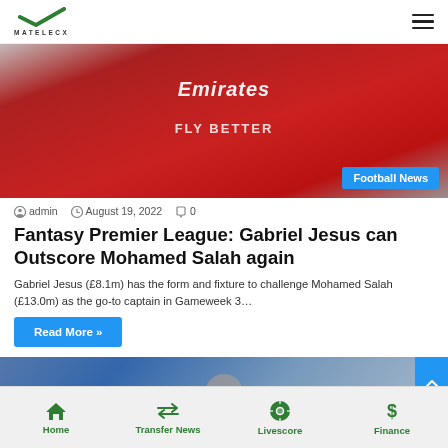MATELECX
[Figure (photo): Arsenal footballer wearing red Emirates FLY BETTER jersey with thumbs up gesture, crowd in background. Football News badge overlay.]
admin  August 19, 2022  0
Fantasy Premier League: Gabriel Jesus can Outscore Mohamed Salah again
Gabriel Jesus (£8.1m) has the form and fixture to challenge Mohamed Salah (£13.0m) as the go-to captain in Gameweek 3…
Read More »
[Figure (photo): Partial view of a football-related image with blurred background in blue/grey tones, with a blue scroll-to-top button on the right.]
Home  Transfer News  Livescore  Finance